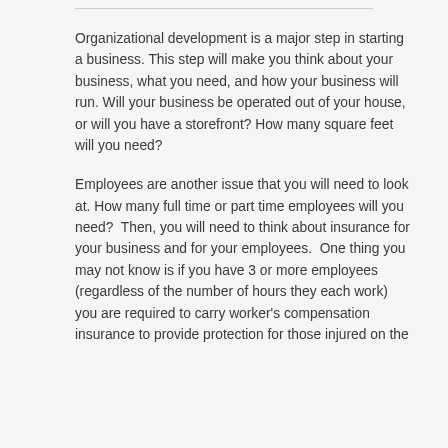Organizational development is a major step in starting a business. This step will make you think about your business, what you need, and how your business will run. Will your business be operated out of your house, or will you have a storefront? How many square feet will you need?
Employees are another issue that you will need to look at. How many full time or part time employees will you need?  Then, you will need to think about insurance for your business and for your employees.  One thing you may not know is if you have 3 or more employees (regardless of the number of hours they each work) you are required to carry worker's compensation insurance to provide protection for those injured on the